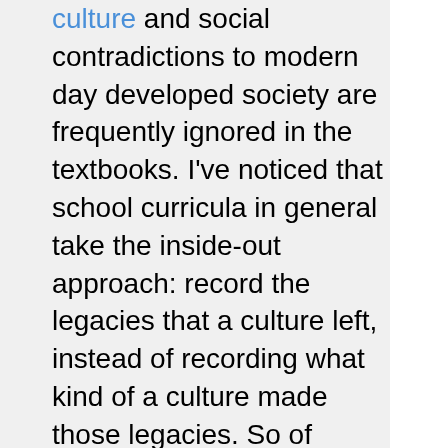culture and social contradictions to modern day developed society are frequently ignored in the textbooks. I've noticed that school curricula in general take the inside-out approach: record the legacies that a culture left, instead of recording what kind of a culture made those legacies. So of course, when a famed anthropologist digs up a nugget about say, a contradictory social or even sexual practice, the information is kept hush-hush, and a new generation of kids remain blissfully ignorant the wonders of the ancient world. The time is now for learning to be less about propaganda and more about